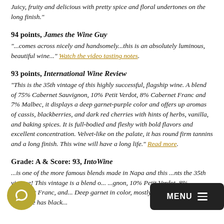Juicy, fruity and delicious with pretty spice and floral undertones on the long finish."
94 points, James the Wine Guy
"...comes across nicely and handsomely...this is an absolutely luminous, beautiful wine..." Watch the video tasting notes.
93 points, International Wine Review
"This is the 35th vintage of this highly successful, flagship wine. A blend of 75% Cabernet Sauvignon, 10% Petit Verdot, 8% Cabernet Franc and 7% Malbec, it displays a deep garnet-purple color and offers up aromas of cassis, blackberries, and dark red cherries with hints of herbs, vanilla, and baking spices. It is full-bodied and fleshy with bold flavors and excellent concentration. Velvet-like on the palate, it has round firm tannins and a long finish. This wine will have a long life." Read more.
Grade: A & Score: 93, IntoWine
...is one of the more famous blends made in Napa and this ...nts the 35th vintage! This vintage is a blend o... ...gnon, 10% Petit Verdot, 8% Cabernet Franc, and... Deep garnet in color, mostly opaque and bright. The nose has black...